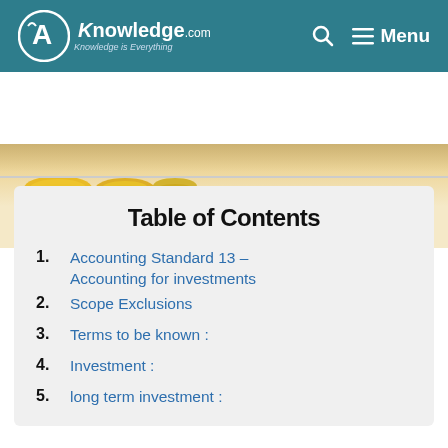AKnowledge.com — Knowledge is Everything | Menu
[Figure (photo): Partially visible banner image with coins on a cream/yellow background]
Table of Contents
1. Accounting Standard 13 – Accounting for investments
2. Scope Exclusions
3. Terms to be known :
4. Investment :
5. long term investment :